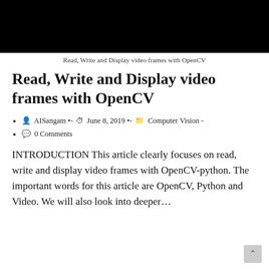[Figure (photo): Black hero image banner at the top of the blog post]
Read, Write and Display video frames with OpenCV
Read, Write and Display video frames with OpenCV
AISangam •- June 8, 2019 •- Computer Vision -
0 Comments
INTRODUCTION This article clearly focuses on read, write and display video frames with OpenCV-python. The important words for this article are OpenCV, Python and Video. We will also look into deeper…